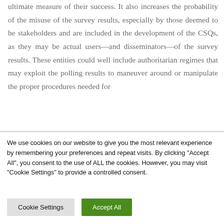ultimate measure of their success. It also increases the probability of the misuse of the survey results, especially by those deemed to be stakeholders and are included in the development of the CSQs, as they may be actual users—and disseminators—of the survey results. These entities could well include authoritarian regimes that may exploit the polling results to maneuver around or manipulate the proper procedures needed for
We use cookies on our website to give you the most relevant experience by remembering your preferences and repeat visits. By clicking "Accept All", you consent to the use of ALL the cookies. However, you may visit "Cookie Settings" to provide a controlled consent.